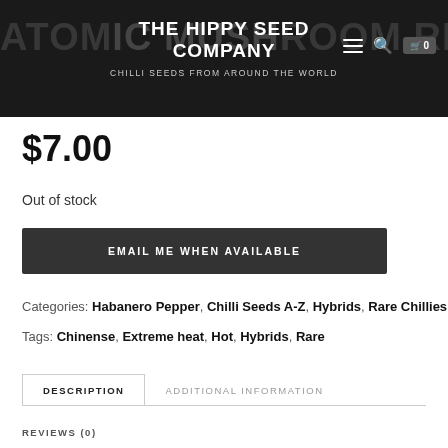THE HIPPY SEED COMPANY — CHILLI SEEDS FROM AROUND THE WORLD
ATOMIC MUSHROOM RED
$7.00
Out of stock
EMAIL ME WHEN AVAILABLE
Categories: Habanero Pepper, Chilli Seeds A-Z, Hybrids, Rare Chillies
Tags: Chinense, Extreme heat, Hot, Hybrids, Rare
DESCRIPTION | ADDITIONAL INFORMATION
REVIEWS (0)